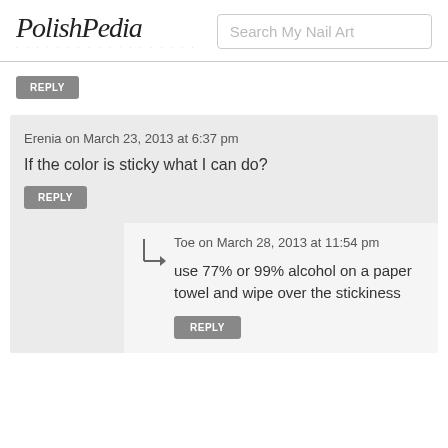PolishPedia | Search My Nail Art
REPLY
Erenia on March 23, 2013 at 6:37 pm
If the color is sticky what I can do?
REPLY
Toe on March 28, 2013 at 11:54 pm
use 77% or 99% alcohol on a paper towel and wipe over the stickiness
REPLY